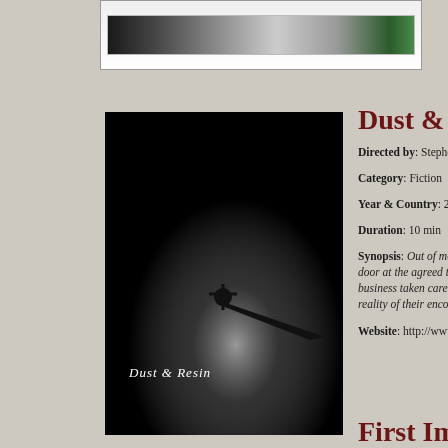[Figure (photo): Top strip showing a film strip or banner image with dark and light tones and a green element on the right]
[Figure (photo): Film poster for 'Dust & Resin' showing a dark background with a silhouette of a person casting a long shadow, with handwritten title 'Dust & Resin' at bottom]
Dust & Res...
Directed by: Stephen Pa...
Category: Fiction
Year & Country: 2015, U...
Duration: 10 min
Synopsis: Out of mone... door at the agreed time... business taken care of,... reality of their encoun...
Website: http://www.du...
First Impre...